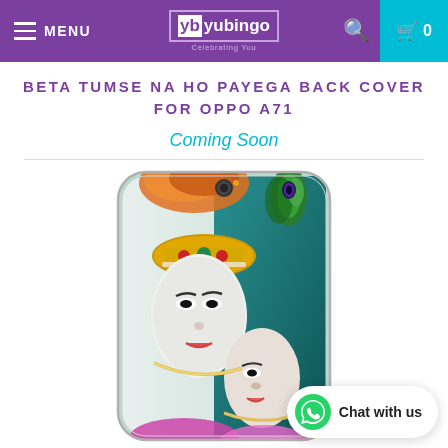MENU | yb yubingo | Celebrating You | [search] [cart 0]
BETA TUMSE NA HO PAYEGA BACK COVER FOR OPPO A71
Coming Soon
[Figure (photo): A phone back cover for Oppo A71 featuring a decorative illustration of Radha-Krishna (Hindu deities) with ornate jewelry and peacock feathers. The case has a white/light background on the left figure and teal/blue background on the right. A 'Chat with us' WhatsApp widget appears in the lower right corner.]